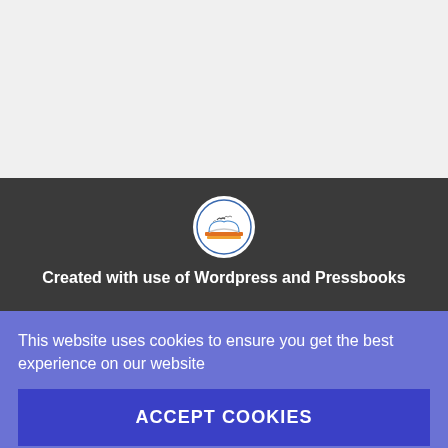[Figure (logo): Circular logo with seagulls over an open book, with text around the border, white background]
Created with use of Wordpress and Pressbooks
This website uses cookies to ensure you get the best experience on our website
ACCEPT COOKIES
Allow our cookies and unlock advanced features. Find out more on how we use cookies in our Privacy Policy and Cookies Policy .